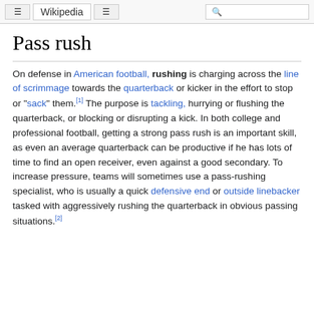Wikipedia
Pass rush
On defense in American football, rushing is charging across the line of scrimmage towards the quarterback or kicker in the effort to stop or "sack" them.[1] The purpose is tackling, hurrying or flushing the quarterback, or blocking or disrupting a kick. In both college and professional football, getting a strong pass rush is an important skill, as even an average quarterback can be productive if he has lots of time to find an open receiver, even against a good secondary. To increase pressure, teams will sometimes use a pass-rushing specialist, who is usually a quick defensive end or outside linebacker tasked with aggressively rushing the quarterback in obvious passing situations.[2]